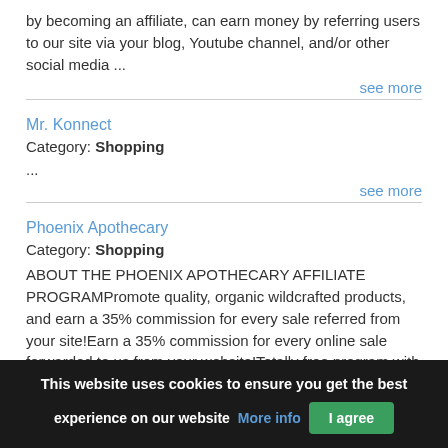by becoming an affiliate, can earn money by referring users to our site via your blog, Youtube channel, and/or other social media ...
see more
Mr. Konnect
Category: Shopping
...
see more
Phoenix Apothecary
Category: Shopping
ABOUT THE PHOENIX APOTHECARY AFFILIATE PROGRAMPromote quality, organic wildcrafted products, and earn a 35% commission for every sale referred from your site!Earn a 35% commission for every online sale forwarded to us from your website!Totally free program with
This website uses cookies to ensure you get the best experience on our website More info I agree